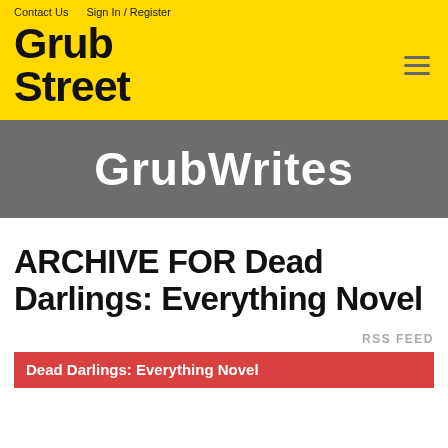Contact Us   Sign In / Register
[Figure (logo): Grub Street logo in black bold text on yellow background]
GrubWrites
ARCHIVE FOR Dead Darlings: Everything Novel
RSS FEED
Dead Darlings: Everything Novel